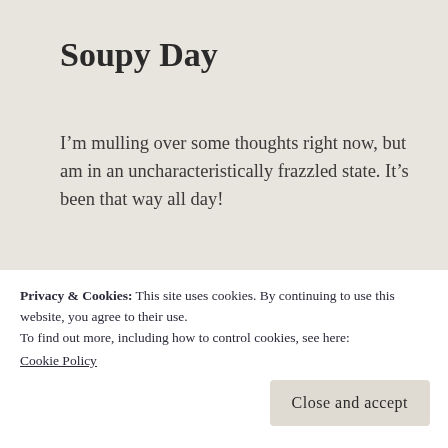Soupy Day
I’m mulling over some thoughts right now, but am in an uncharacteristically frazzled state. It’s been that way all day!
[Figure (photo): Interior photo showing a fireplace with a white/cream stone surround and dark wood mantel, flanked by windows with plants visible on each side.]
Privacy & Cookies: This site uses cookies. By continuing to use this website, you agree to their use.
To find out more, including how to control cookies, see here:
Cookie Policy
Close and accept